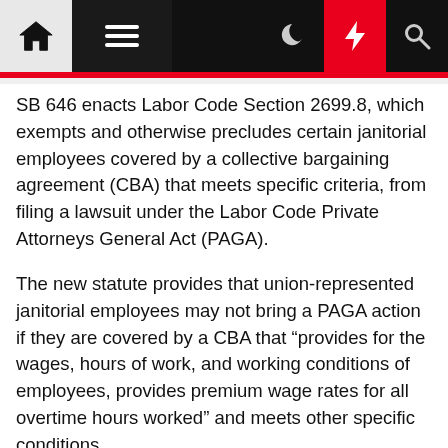Navigation bar with home, menu, dark mode, lightning, and search icons
SB 646 enacts Labor Code Section 2699.8, which exempts and otherwise precludes certain janitorial employees covered by a collective bargaining agreement (CBA) that meets specific criteria, from filing a lawsuit under the Labor Code Private Attorneys General Act (PAGA).
The new statute provides that union-represented janitorial employees may not bring a PAGA action if they are covered by a CBA that “provides for the wages, hours of work, and working conditions of employees, provides premium wage rates for all overtime hours worked” and meets other specific conditions.
Those conditions require the CBA to: (1) provide total hourly compensation, inclusive of wages,